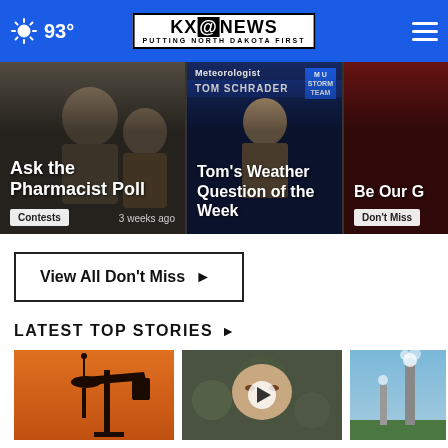93° KXO NEWS - PUTTING NORTH DAKOTA FIRST
[Figure (screenshot): Ask the Pharmacist Poll card with Contests badge, 3 weeks ago]
[Figure (screenshot): Tom's Weather Question of the Week card with Tom Schrader and storm team branding]
[Figure (screenshot): Be Our G... card with Don't Miss badge (partially cropped)]
View All Don't Miss ▶
LATEST TOP STORIES ▶
[Figure (photo): Oil pump jack silhouette against orange sunset sky]
[Figure (photo): Close-up of person's face with play button overlay, video thumbnail]
[Figure (photo): Industrial smokestack against blue sky (partially cropped)]